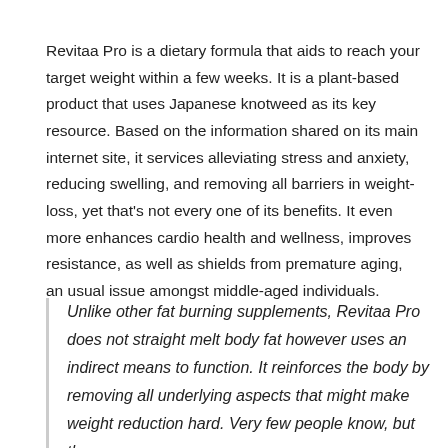Revitaa Pro is a dietary formula that aids to reach your target weight within a few weeks. It is a plant-based product that uses Japanese knotweed as its key resource. Based on the information shared on its main internet site, it services alleviating stress and anxiety, reducing swelling, and removing all barriers in weight-loss, yet that's not every one of its benefits. It even more enhances cardio health and wellness, improves resistance, as well as shields from premature aging, an usual issue amongst middle-aged individuals.
Unlike other fat burning supplements, Revitaa Pro does not straight melt body fat however uses an indirect means to function. It reinforces the body by removing all underlying aspects that might make weight reduction hard. Very few people know, but the